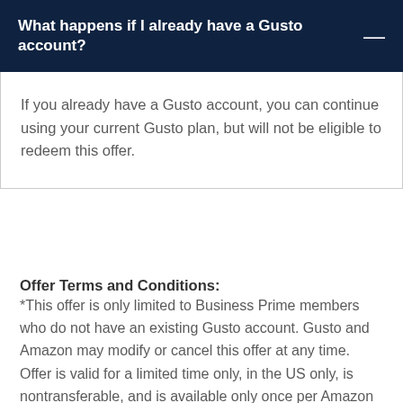What happens if I already have a Gusto account?
If you already have a Gusto account, you can continue using your current Gusto plan, but will not be eligible to redeem this offer.
Offer Terms and Conditions:
*This offer is only limited to Business Prime members who do not have an existing Gusto account. Gusto and Amazon may modify or cancel this offer at any time. Offer is valid for a limited time only, in the US only, is nontransferable, and is available only once per Amazon Business account. This offer cannot be combined with any other Gusto offers. The first twelve (12) months of the subscription to Gusto